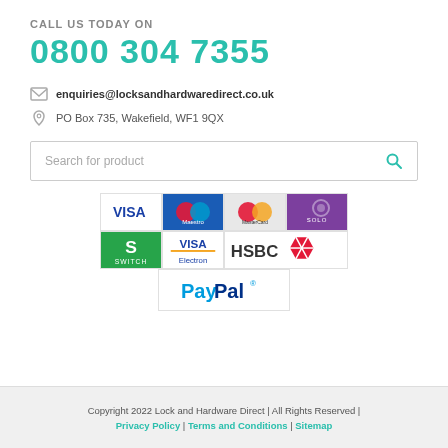CALL US TODAY ON
0800 304 7355
enquiries@locksandhardwaredirect.co.uk
PO Box 735, Wakefield, WF1 9QX
Search for product
[Figure (logo): Payment method logos: Visa, Maestro, MasterCard, Solo, Switch, Visa Electron, HSBC, PayPal]
Copyright 2022 Lock and Hardware Direct | All Rights Reserved | Privacy Policy | Terms and Conditions | Sitemap